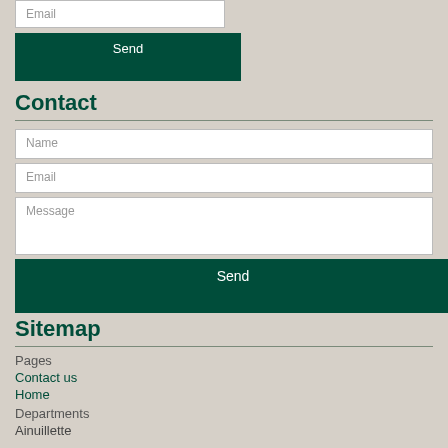Email
Send
Contact
Name
Email
Message
Send
Sitemap
Pages
Contact us
Home
Departments
Ainuillette